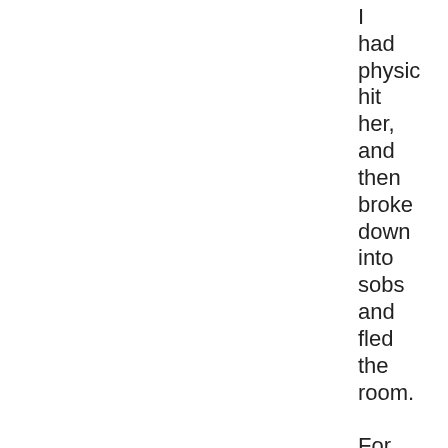I had physically hit her, and then broke down into sobs and fled the room.

For the record, I was pretty hazy